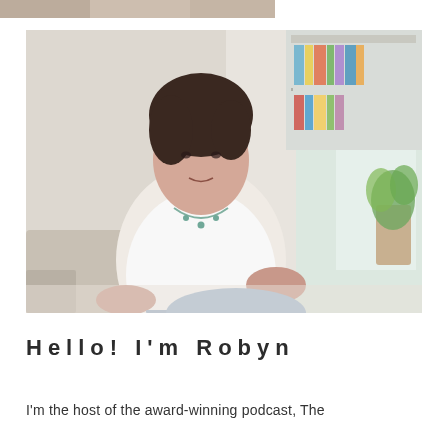[Figure (photo): A partial strip/thumbnail of an image cropped at the top of the page, showing what appears to be a partial view of a room or person.]
[Figure (photo): A woman with short dark hair sitting in a casual pose in what appears to be a home setting. She is wearing a white tank top and blue jeans, with a turquoise necklace. Behind her is a bookshelf with colorful books and a plant in a woven basket near a window.]
Hello! I'm Robyn
I'm the host of the award-winning podcast, The